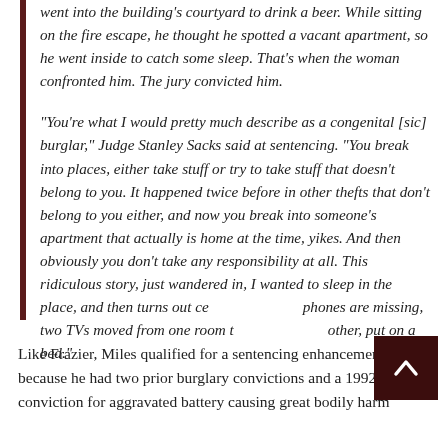went into the building's courtyard to drink a beer. While sitting on the fire escape, he thought he spotted a vacant apartment, so he went inside to catch some sleep. That's when the woman confronted him. The jury convicted him.
“You’re what I would pretty much describe as a congenital [sic] burglar,” Judge Stanley Sacks said at sentencing. “You break into places, either take stuff or try to take stuff that doesn’t belong to you. It happened twice before in other thefts that don’t belong to you either, and now you break into someone’s apartment that actually is home at the time, yikes. And then obviously you don’t take any responsibility at all. This ridiculous story, just wandered in, I wanted to sleep in the place, and then turns out cell phones are missing, two TVs moved from one room to the other, put on a bed.”
Like Frazier, Miles qualified for a sentencing enhancement because he had two prior burglary convictions and a 1992 conviction for aggravated battery causing great bodily harm